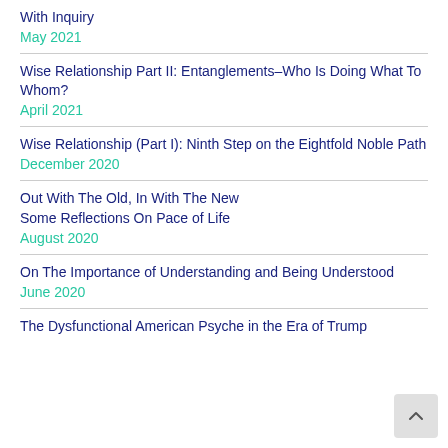With Inquiry
May 2021
Wise Relationship Part II: Entanglements–Who Is Doing What To Whom?
April 2021
Wise Relationship (Part I): Ninth Step on the Eightfold Noble Path
December 2020
Out With The Old, In With The New
Some Reflections On Pace of Life
August 2020
On The Importance of Understanding and Being Understood
June 2020
The Dysfunctional American Psyche in the Era of Trump